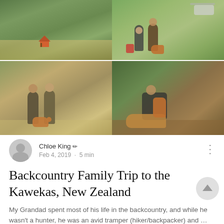[Figure (photo): Collage of four outdoor hunting/tramping photos: top-left shows a remote hut in green hills; bottom-left shows two people in camouflage gear with a brown dog; top-right shows two people standing near a helicopter on a green field with a brown dog; bottom-right shows a person kneeling beside a deer and a brown dog in forest undergrowth.]
Chloe King ✏ Feb 4, 2019 · 5 min
Backcountry Family Trip to the Kawekas, New Zealand
My Grandad spent most of his life in the backcountry, and while he wasn't a hunter, he was an avid tramper (hiker/backpacker) and …